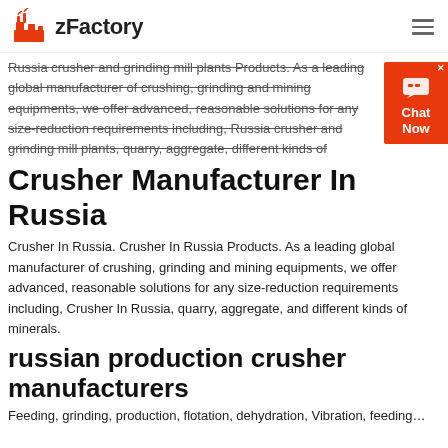zFactory
Russia crusher and grinding mill plants Products. As a leading global manufacturer of crushing, grinding and mining equipments, we offer advanced, reasonable solutions for any size-reduction requirements including, Russia crusher and grinding mill plants, quarry, aggregate, different kinds of
Crusher Manufacturer In Russia
Crusher In Russia. Crusher In Russia Products. As a leading global manufacturer of crushing, grinding and mining equipments, we offer advanced, reasonable solutions for any size-reduction requirements including, Crusher In Russia, quarry, aggregate, and different kinds of minerals.
russian production crusher manufacturers
Feeding, grinding, production, flotation, dehydration, Vibration, feeding